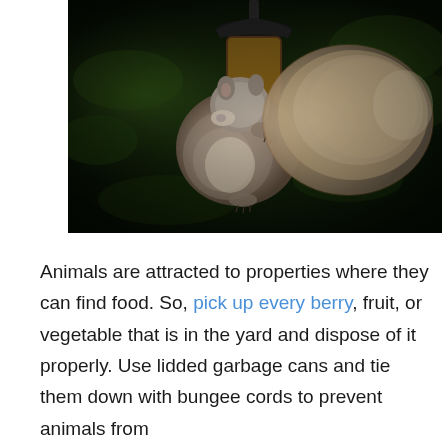[Figure (photo): A gray squirrel clinging to a hanging bird feeder filled with seeds, with a dark blurred green background.]
Animals are attracted to properties where they can find food. So, pick up every berry, fruit, or vegetable that is in the yard and dispose of it properly. Use lidded garbage cans and tie them down with bungee cords to prevent animals from